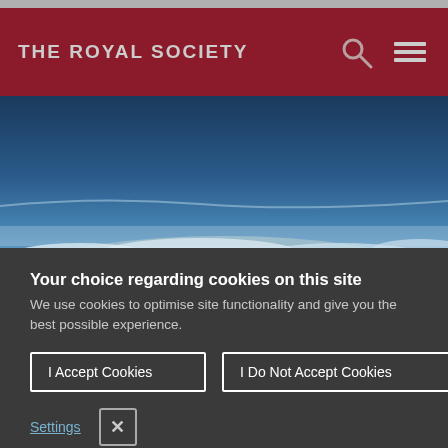THE ROYAL SOCIETY
[Figure (photo): Aerial photograph of Earth from high altitude showing clouds and blue sky with the curve of the atmosphere visible]
Your choice regarding cookies on this site
We use cookies to optimise site functionality and give you the best possible experience.
I Accept Cookies
I Do Not Accept Cookies
Settings